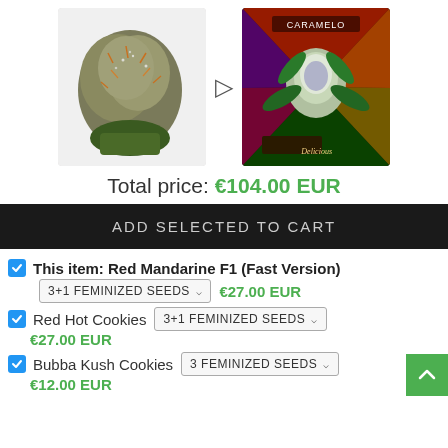[Figure (photo): Two product images: left shows cannabis bud (Red Mandarine F1), right shows Caramelo cannabis seed pack with colorful plant image. A right-pointing arrow/bracket is between them.]
Total price: €104.00 EUR
ADD SELECTED TO CART
This item: Red Mandarine F1 (Fast Version)
3+1 FEMINIZED SEEDS  €27.00 EUR
Red Hot Cookies  3+1 FEMINIZED SEEDS
€27.00 EUR
Bubba Kush Cookies  3 FEMINIZED SEEDS
€12.00 EUR